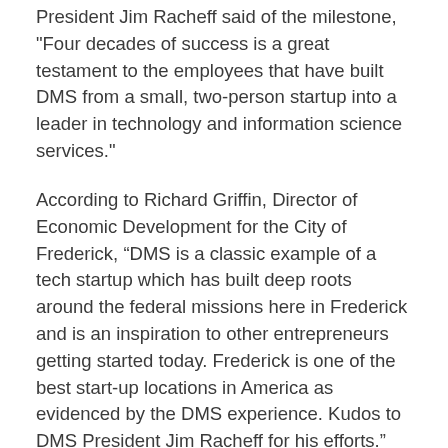President Jim Racheff said of the milestone, "Four decades of success is a great testament to the employees that have built DMS from a small, two-person startup into a leader in technology and information science services."
According to Richard Griffin, Director of Economic Development for the City of Frederick, “DMS is a classic example of a tech startup which has built deep roots around the federal missions here in Frederick and is an inspiration to other entrepreneurs getting started today. Frederick is one of the best start-up locations in America as evidenced by the DMS experience. Kudos to DMS President Jim Racheff for his efforts.”
“Frederick is fortunate to have tech companies like DMS and their talented workforce here, and we